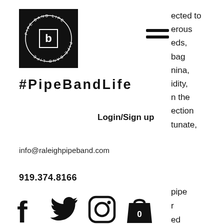[Figure (logo): Circular pipe band logo with text 'PIPE BAND LIFE' on black square background]
[Figure (other): Hamburger menu icon (three horizontal lines)]
ected to
erous
eds,
bag
nina,
idity,
n the
ection
tunate,
#PipeBandLife
Login/Sign up
info@raleighpipeband.com
919.374.8166
[Figure (other): Social media icons: Facebook, Twitter, Instagram, and shopping bag with 0]
pipe
r
ed
times
y than
On top of all that, have you seen our music?!? Give some bagpipe music to an otherwise classically-trained musician, and I assure you that the look of bewilderment on his/her face